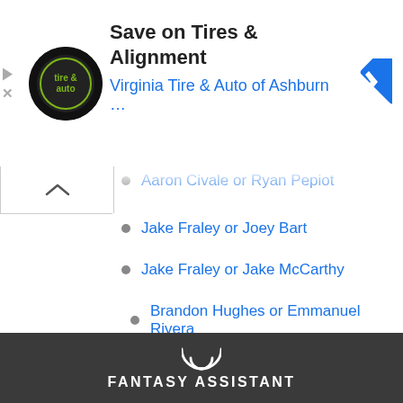[Figure (screenshot): Ad banner for Virginia Tire & Auto of Ashburn with logo and navigation icon]
Aaron Civale or Ryan Pepiot
Jake Fraley or Joey Bart
Jake Fraley or Jake McCarthy
Brandon Hughes or Emmanuel Rivera
Franmil Reyes or Stone Garrett
Brett Baty or Brandon Hughes
ALWAYS SET THE BEST LINEUP
FANTASY ASSISTANT